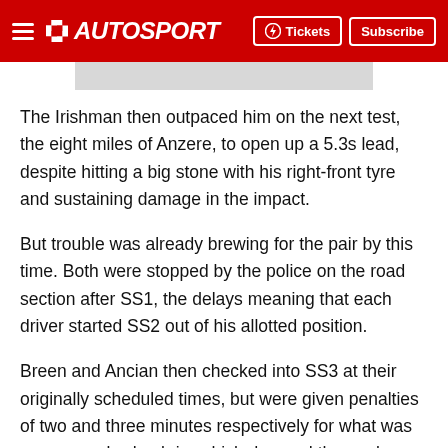AUTOSPORT — Tickets | Subscribe
The Irishman then outpaced him on the next test, the eight miles of Anzere, to open up a 5.3s lead, despite hitting a big stone with his right-front tyre and sustaining damage in the impact.
But trouble was already brewing for the pair by this time. Both were stopped by the police on the road section after SS1, the delays meaning that each driver started SS2 out of his allotted position.
Breen and Ancian then checked into SS3 at their originally scheduled times, but were given penalties of two and three minutes respectively for what was now an early check-in, which dropped them a long way off the pace.